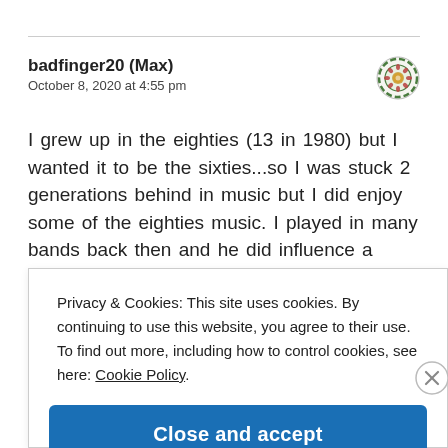badfinger20 (Max)
October 8, 2020 at 4:55 pm
[Figure (illustration): Circular avatar/badge icon with decorative green and orange design]
I grew up in the eighties (13 in 1980) but I wanted it to be the sixties...so I was stuck 2 generations behind in music but I did enjoy some of the eighties music. I played in many bands back then and he did influence a
Privacy & Cookies: This site uses cookies. By continuing to use this website, you agree to their use.
To find out more, including how to control cookies, see here: Cookie Policy
Close and accept